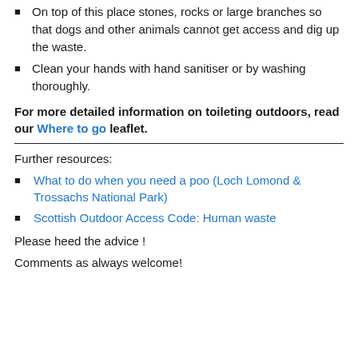On top of this place stones, rocks or large branches so that dogs and other animals cannot get access and dig up the waste.
Clean your hands with hand sanitiser or by washing thoroughly.
For more detailed information on toileting outdoors, read our Where to go leaflet.
Further resources:
What to do when you need a poo (Loch Lomond & Trossachs National Park)
Scottish Outdoor Access Code: Human waste
Please heed the advice !
Comments as always welcome!